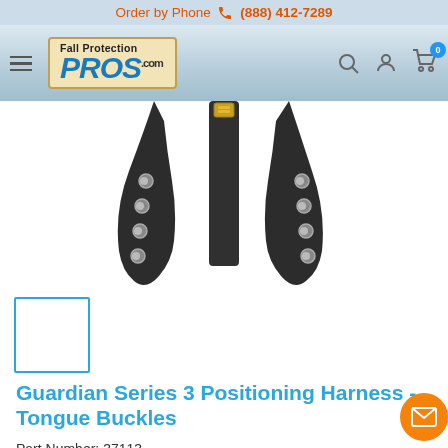Order by Phone (888) 412-7289
[Figure (logo): Fall Protection Pros logo with hamburger menu and nav icons (search, account, cart with 0 badge)]
[Figure (photo): Close-up of a black safety harness with metal grommets and a gold buckle on a white background]
[Figure (photo): Small thumbnail image placeholder with blue border]
Guardian Series 3 Positioning Harness - Tongue Buckles
Part Number: 37113